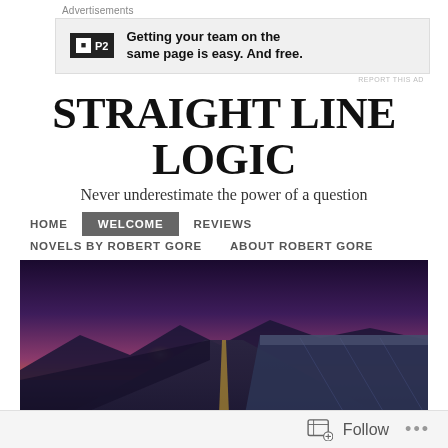Advertisements
[Figure (screenshot): P2 advertisement banner: logo with 'P2' text on dark background, ad text reads 'Getting your team on the same page is easy. And free.']
REPORT THIS AD
STRAIGHT LINE LOGIC
Never underestimate the power of a question
HOME
WELCOME
REVIEWS
NOVELS BY ROBERT GORE
ABOUT ROBERT GORE
[Figure (photo): Hero image: a straight road or railway tracks leading into the distance at sunset/dusk, with orange and purple sky, mountains in background, cargo train cars visible on the right side]
Follow ...